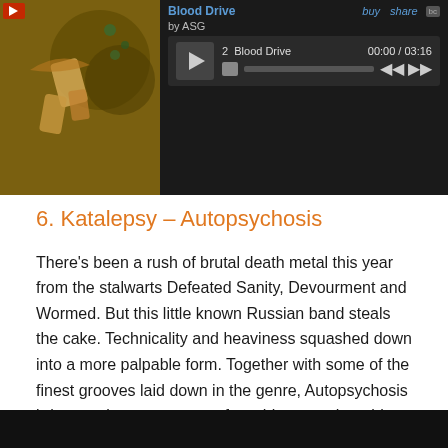[Figure (screenshot): Bandcamp music player showing 'Blood Drive' by ASG. Track 2 'Blood Drive', time 00:00 / 03:16. Dark themed player with album art on left, play button, progress bar, skip controls.]
6. Katalepsy – Autopsychosis
There's been a rush of brutal death metal this year from the stalwarts Defeated Sanity, Devourment and Wormed. But this little known Russian band steals the cake. Technicality and heaviness squashed down into a more palpable form. Together with some of the finest grooves laid down in the genre, Autopsychosis brings an insane amount of catchiness to the table.